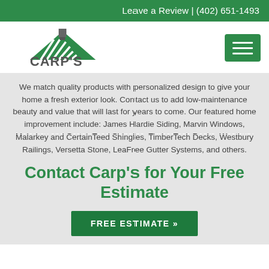Leave a Review | (402) 651-1493
[Figure (logo): Carp's Complete Exteriors logo: green house/roof shape with white stripe lines and a chimney icon above the company name CARP'S in gray bold letters with COMPLETE EXTERIORS below in spaced green letters]
We match quality products with personalized design to give your home a fresh exterior look. Contact us to add low-maintenance beauty and value that will last for years to come. Our featured home improvement include: James Hardie Siding, Marvin Windows, Malarkey and CertainTeed Shingles, TimberTech Decks, Westbury Railings, Versetta Stone, LeaFree Gutter Systems, and others.
Contact Carp's for Your Free Estimate
FREE ESTIMATE »